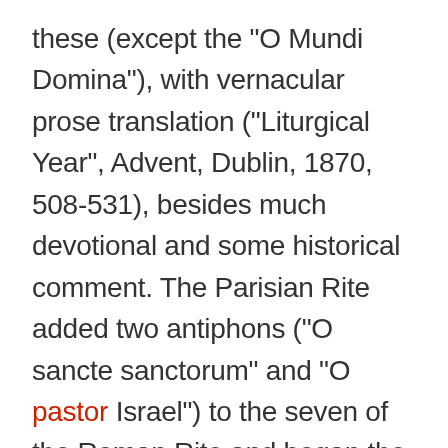these (except the "O Mundi Domina"), with vernacular prose translation ("Liturgical Year", Advent, Dublin, 1870, 508-531), besides much devotional and some historical comment. The Parisian Rite added two antiphons ("O sancte sanctorum" and "O pastor Israel") to the seven of the Roman Rite and began the recitation of the nine on the 15th of December. Prose renderings of the Roman Breviary O's will be found in the Marquess of Bute's translation of the Roman Breviary (winter volume). Guéranger remarks that the antiphons were appropriately assigned to the Vesper Hour because the Saviour came in the evening hour of the world ( vergente mundi vespere, as the Church